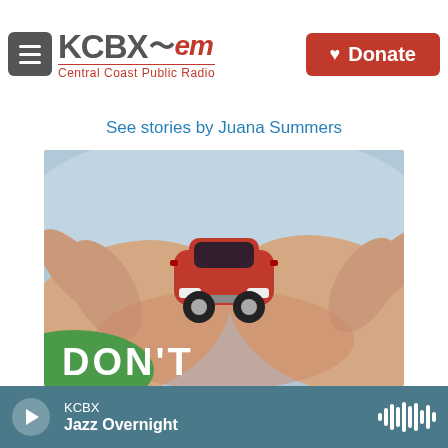KCBX FM Central Coast Public Radio — Donate
See stories by Juana Summers
[Figure (photo): Two hands cupping a small red toy car against a light blue background, with a green circular element in the lower left. The word 'DON'T' appears in large white bold text at the bottom.]
KCBX — Jazz Overnight (player bar)